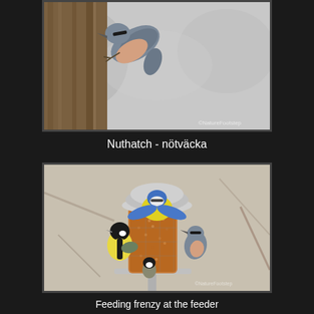[Figure (photo): A nuthatch bird clinging to a tree trunk, photographed against a blurry winter background. Watermark reads ©NatureFootstep.]
Nuthatch - nötväcka
[Figure (photo): A bird feeder filled with peanuts/seeds surrounded by several birds including a great tit (black and yellow), coal tit, blue tit, and nuthatch. The feeder has a metal dome top and cylindrical seed container.]
Feeding frenzy at the feeder
Great tit, coal tit, blue tit and nuthatch
Niktilsals from from Sweden...